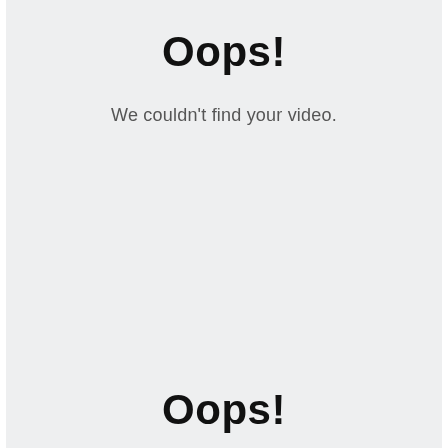Oops!
We couldn't find your video.
Oops!